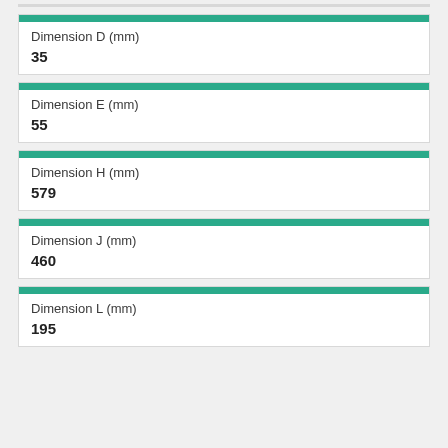| Dimension D (mm) |
| --- |
| 35 |
| Dimension E (mm) |
| --- |
| 55 |
| Dimension H (mm) |
| --- |
| 579 |
| Dimension J (mm) |
| --- |
| 460 |
| Dimension L (mm) |
| --- |
| 195 |